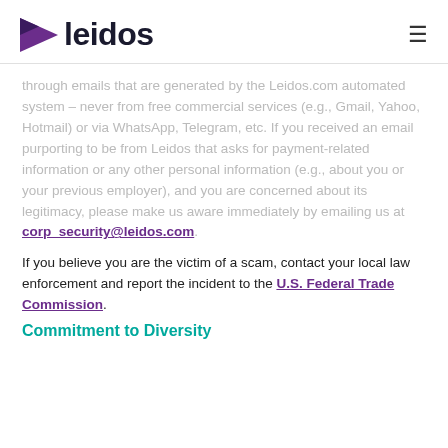leidos
through emails that are generated by the Leidos.com automated system – never from free commercial services (e.g., Gmail, Yahoo, Hotmail) or via WhatsApp, Telegram, etc. If you received an email purporting to be from Leidos that asks for payment-related information or any other personal information (e.g., about you or your previous employer), and you are concerned about its legitimacy, please make us aware immediately by emailing us at corp_security@leidos.com.
If you believe you are the victim of a scam, contact your local law enforcement and report the incident to the U.S. Federal Trade Commission.
Commitment to Diversity